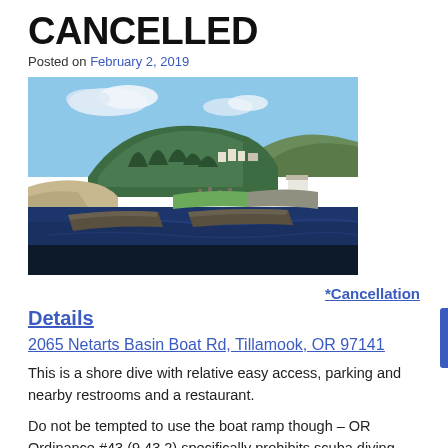CANCELLED
Posted on February 2, 2019
[Figure (photo): Aerial view of Netarts Basin boat area with jetty, marina, forested headland, beach and bay visible under partly cloudy sky]
*Cancellation Details
2065 Netarts Basin Boat Rd, Tillamook, OR 97141
This is a shore dive with relative easy access, parking and nearby restrooms and a restaurant.
Do not be tempted to use the boat ramp though – OR Ordinance #43 (9.43.2) specifically prohibits scuba diving